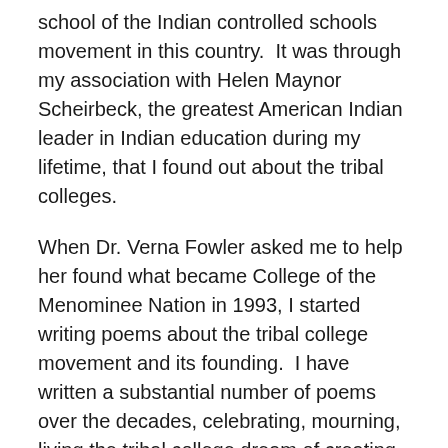school of the Indian controlled schools movement in this country.  It was through my association with Helen Maynor Scheirbeck, the greatest American Indian leader in Indian education during my lifetime, that I found out about the tribal colleges.
When Dr. Verna Fowler asked me to help her found what became College of the Menominee Nation in 1993, I started writing poems about the tribal college movement and its founding.  I have written a substantial number of poems over the decades, celebrating, mourning, living the tribal college dream of creating a new form of higher education driven by American Indian cultures and languages throughout the United States.
Most of the early poems were written during American Indian Higher Education conferences, or later, World